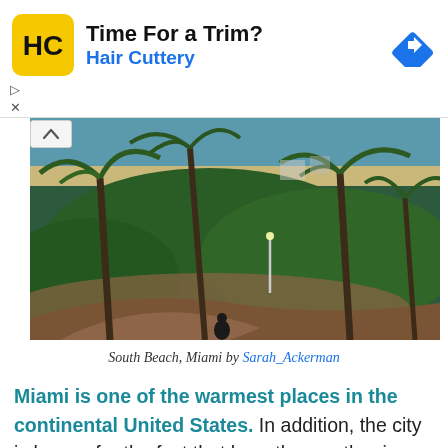[Figure (advertisement): Hair Cuttery ad banner with yellow logo, 'Time For a Trim?' headline, 'Hair Cuttery' subtext in blue, and a blue diamond navigation arrow icon]
[Figure (photo): Aerial view of South Beach, Miami with palm trees, green landscaping, a winding path, and ocean in the background]
South Beach, Miami by Sarah_Ackerman
Miami is one of the warmest places in the continental United States. In addition, the city is known for the fact that here the weather is